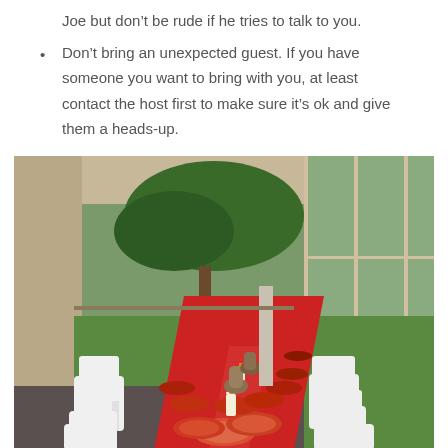Joe but don’t be rude if he tries to talk to you.
Don’t bring an unexpected guest. If you have someone you want to bring with you, at least contact the host first to make sure it’s ok and give them a heads-up.
[Figure (photo): A long dining table with a red tablecloth set for a party, decorated with colorful plates and candles, inside a screened porch overlooking a green backyard with trees.]